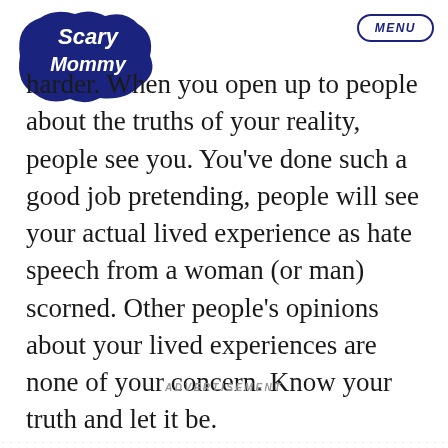Scary Mommy [logo] MENU
harder. When you open up to people about the truths of your reality, people see you. You've done such a good job pretending, people will see your actual lived experience as hate speech from a woman (or man) scorned. Other people's opinions about your lived experiences are none of your concern. Know your truth and let it be.
ADVERTISEMENT